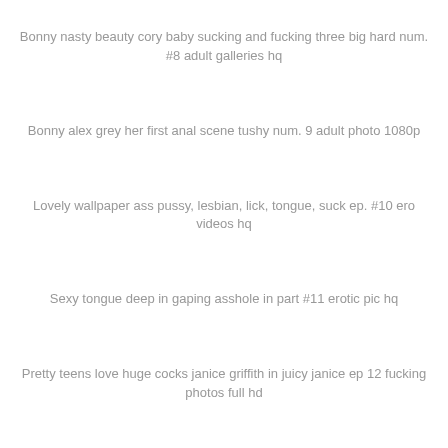Bonny nasty beauty cory baby sucking and fucking three big hard num. #8 adult galleries hq
Bonny alex grey her first anal scene tushy num. 9 adult photo 1080p
Lovely wallpaper ass pussy, lesbian, lick, tongue, suck ep. #10 ero videos hq
Sexy tongue deep in gaping asshole in part #11 erotic pic hq
Pretty teens love huge cocks janice griffith in juicy janice ep 12 fucking photos full hd